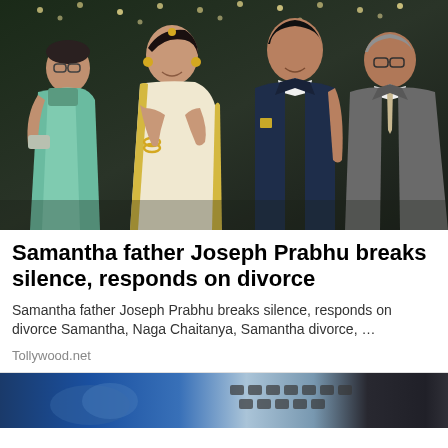[Figure (photo): Four people standing together at what appears to be a formal/wedding event. On the left, an older woman in a teal/green sari. Next to her, a young woman in a white and gold outfit with jewelry. In the center-right, a tall young man in a dark navy suit with a white shirt. On the far right, an older man in a grey suit and tie. Background has hanging lights/decorations.]
Samantha father Joseph Prabhu breaks silence, responds on divorce
Samantha father Joseph Prabhu breaks silence, responds on divorce Samantha, Naga Chaitanya, Samantha divorce, ...
Tollywood.net
[Figure (photo): Partial view of a person's hand near a laptop keyboard, with a blue-toned background. Only the bottom portion of the image is visible.]